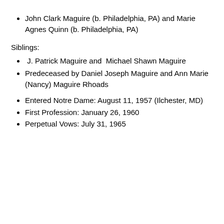John Clark Maguire (b. Philadelphia, PA) and Marie Agnes Quinn (b. Philadelphia, PA)
Siblings:
J. Patrick Maguire and  Michael Shawn Maguire
Predeceased by Daniel Joseph Maguire and Ann Marie (Nancy) Maguire Rhoads
Entered Notre Dame: August 11, 1957 (Ilchester, MD)
First Profession: January 26, 1960
Perpetual Vows: July 31, 1965